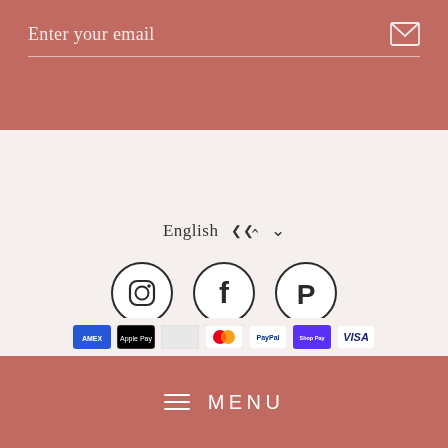[Figure (screenshot): Email subscription input field with placeholder text 'Enter your email' and a mail envelope icon on the right, on a rose/terracotta background with a white underline separator]
English ∨
[Figure (infographic): Three circular social media icons in a row: Instagram, Facebook, Pinterest — dark outlines on light background]
About Us   Contact us   How to order   Payment Methods
Shipping   Return Policy   Privacy Policy   Terms & Conditions
[Figure (infographic): Payment method icons row: American Express, Apple Pay, and other card brand logos partially visible]
MENU